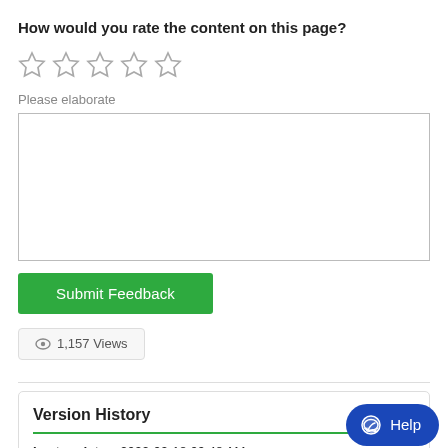How would you rate the content on this page?
[Figure (other): Five empty star icons for rating]
Please elaborate
[Figure (other): Empty text area box for elaboration]
[Figure (other): Submit Feedback green button]
1,157 Views
Version History
Last update:  2022-02-18 09:48 AM